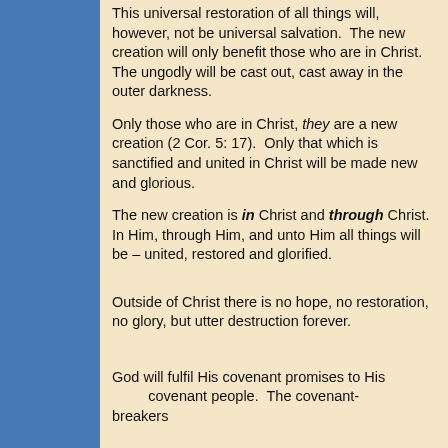This universal restoration of all things will, however, not be universal salvation. The new creation will only benefit those who are in Christ. The ungodly will be cast out, cast away in the outer darkness.
Only those who are in Christ, they are a new creation (2 Cor. 5: 17). Only that which is sanctified and united in Christ will be made new and glorious.
The new creation is in Christ and through Christ. In Him, through Him, and unto Him all things will be – united, restored and glorified.
Outside of Christ there is no hope, no restoration, no glory, but utter destruction forever.
God will fulfil His covenant promises to His covenant people. The covenant-breakers…